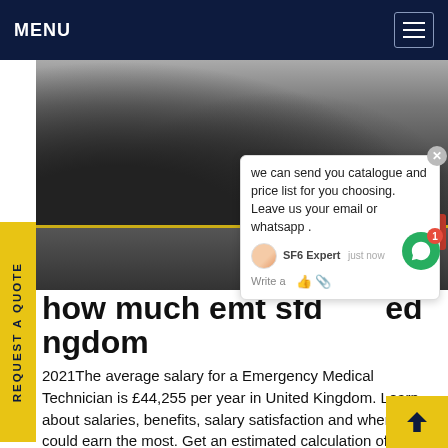MENU
[Figure (photo): Photo of people walking through what appears to be a transit station or airport, seen from behind. Floor has a yellow line. A red bag is visible on the right side.]
we can send you catalogue and price list for you choosing. Leave us your email or whatsapp . SF6 Expert  just now  Write a
how much emt sfd ed ngdom
2021The average salary for a Emergency Medical Technician is £44,255 per year in United Kingdom. Learn about salaries, benefits, salary satisfaction and where you could earn the most. Get an estimated calculation of how much you should be earning insight intoGet price